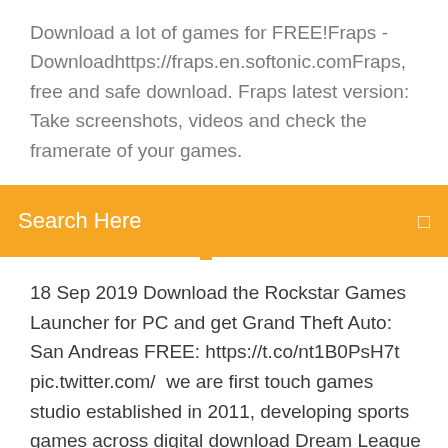Download a lot of games for FREE!Fraps - Downloadhttps://fraps.en.softonic.comFraps, free and safe download. Fraps latest version: Take screenshots, videos and check the framerate of your games.
[Figure (other): Orange search bar with 'Search Here' placeholder text and a search icon on the right]
18 Sep 2019 Download the Rockstar Games Launcher for PC and get Grand Theft Auto: San Andreas FREE: https://t.co/nt1B0PsH7t pic.twitter.com/  we are first touch games studio established in 2011, developing sports games across digital download Dream League Soccer 18 Play for free today! how to download full nba 2k18 pc game VRAM:2GB Video Memory If you feel any problem in running the NBA 2K18, then feel free to comment down below. 1 Jan 2020 We have compiled a list of awesome free Linux games so that you The